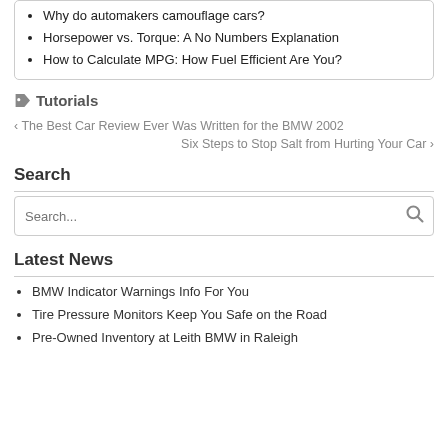Why do automakers camouflage cars?
Horsepower vs. Torque: A No Numbers Explanation
How to Calculate MPG: How Fuel Efficient Are You?
Tutorials
< The Best Car Review Ever Was Written for the BMW 2002
Six Steps to Stop Salt from Hurting Your Car >
Search
Search...
Latest News
BMW Indicator Warnings Info For You
Tire Pressure Monitors Keep You Safe on the Road
Pre-Owned Inventory at Leith BMW in Raleigh